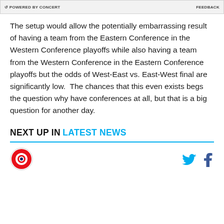POWERED BY CONCERT   FEEDBACK
The setup would allow the potentially embarrassing result of having a team from the Eastern Conference in the Western Conference playoffs while also having a team from the Western Conference in the Eastern Conference playoffs but the odds of West-East vs. East-West final are significantly low.  The chances that this even exists begs the question why have conferences at all, but that is a big question for another day.
NEXT UP IN LATEST NEWS
[Figure (logo): Chicago Bulls circular logo with red, white, and blue design]
[Figure (logo): Twitter bird icon in light blue and Facebook 'f' icon]